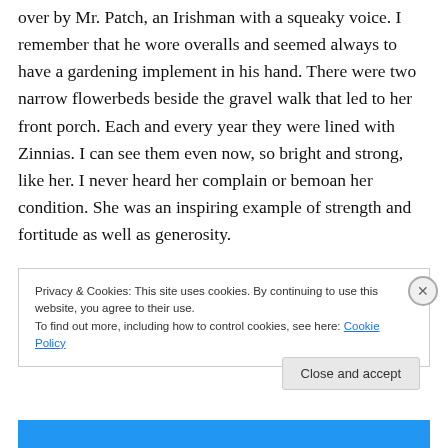over by Mr. Patch, an Irishman with a squeaky voice. I remember that he wore overalls and seemed always to have a gardening implement in his hand. There were two narrow flowerbeds beside the gravel walk that led to her front porch. Each and every year they were lined with Zinnias. I can see them even now, so bright and strong, like her. I never heard her complain or bemoan her condition. She was an inspiring example of strength and fortitude as well as generosity.
Privacy & Cookies: This site uses cookies. By continuing to use this website, you agree to their use.
To find out more, including how to control cookies, see here: Cookie Policy
Close and accept